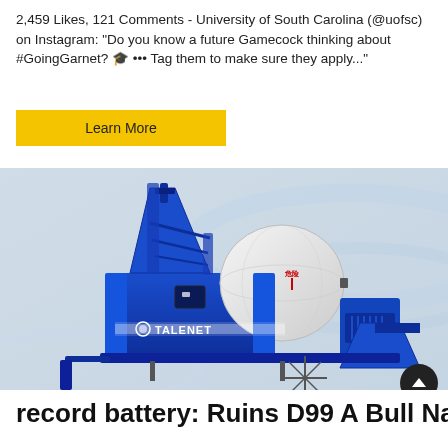2,459 Likes, 121 Comments - University of South Carolina (@uofsc) on Instagram: "Do you know a future Gamecock thinking about #GoingGarnet? 🎓 ••• Tag them to make sure they apply..."
Learn More
[Figure (photo): A blue Talenet concrete mixer pump machine on wheels with a white drum tank, conveyor arm, and hopper, displayed against a light blue-grey gradient background.]
record battery: Ruins D99 A Bull Named